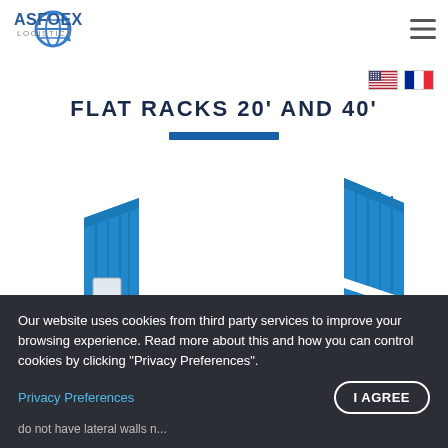[Figure (logo): ASFOEX LOGISTICS logo — blue stylized text with globe/arrow icon]
[Figure (illustration): Hamburger menu icon (three horizontal lines)]
[Figure (illustration): US flag and French flag icons for language selection]
FLAT RACKS 20' AND 40'
[Figure (photo): 3D render of blue flat rack shipping container with wooden floor, one end wall folded down, one end wall upright]
Our website uses cookies from third party services to improve your browsing experience. Read more about this and how you can control cookies by clicking "Privacy Preferences".
Privacy Preferences
I AGREE
do not have lateral walls n...
...